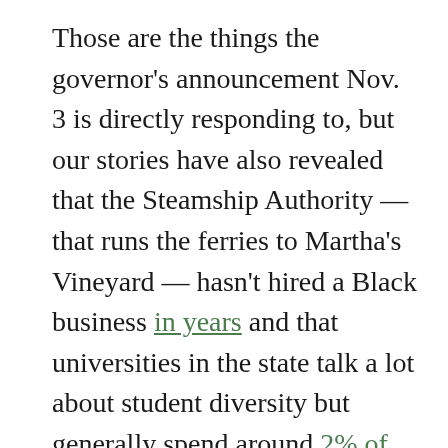Those are the things the governor's announcement Nov. 3 is directly responding to, but our stories have also revealed that the Steamship Authority — that runs the ferries to Martha's Vineyard — hasn't hired a Black business in years and that universities in the state talk a lot about student diversity but generally spend around 2% of their budgets with minority-owned businesses.
We expect more developments on those fronts because we are aware